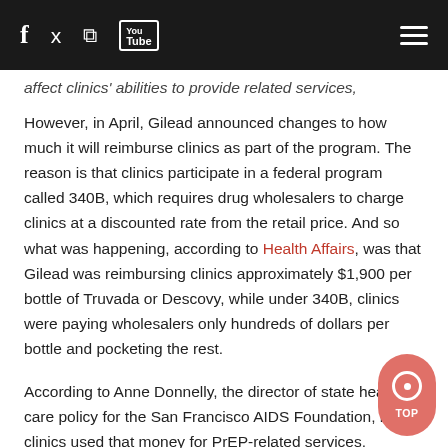f [twitter] [rss] [YouTube] [menu]
affect clinics' abilities to provide related services,
However, in April, Gilead announced changes to how much it will reimburse clinics as part of the program. The reason is that clinics participate in a federal program called 340B, which requires drug wholesalers to charge clinics at a discounted rate from the retail price. And so what was happening, according to Health Affairs, was that Gilead was reimbursing clinics approximately $1,900 per bottle of Truvada or Descovy, while under 340B, clinics were paying wholesalers only hundreds of dollars per bottle and pocketing the rest.
According to Anne Donnelly, the director of state health care policy for the San Francisco AIDS Foundation, many clinics used that money for PrEP-related services.